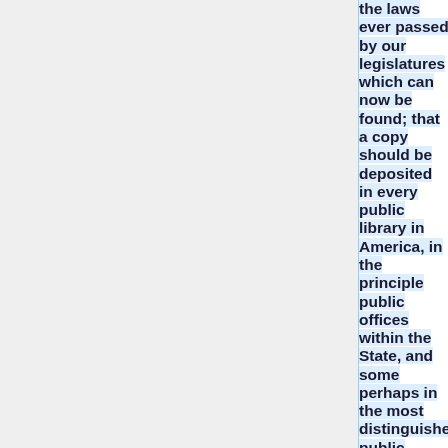the laws ever passed by our legislatures which can now be found; that a copy should be deposited in every public library in America, in the principle public offices within the State, and some perhaps in the most distinguished public libraries of Europe, and that the rest should be sold to individuals, towards reimbursing the